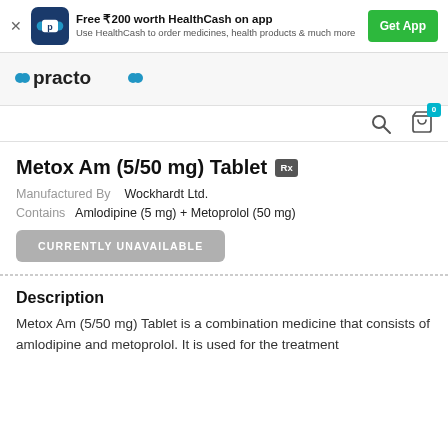[Figure (infographic): Practo app promotional banner: Free ₹200 worth HealthCash on app. Use HealthCash to order medicines, health products & much more. Get App button.]
[Figure (logo): Practo logo in teal/blue with dots on either side of the text]
[Figure (infographic): Search icon and shopping cart icon with badge showing 0]
Metox Am (5/50 mg) Tablet Rx
Manufactured By   Wockhardt Ltd.
Contains   Amlodipine (5 mg) + Metoprolol (50 mg)
CURRENTLY UNAVAILABLE
Description
Metox Am (5/50 mg) Tablet is a combination medicine that consists of amlodipine and metoprolol. It is used for the treatment